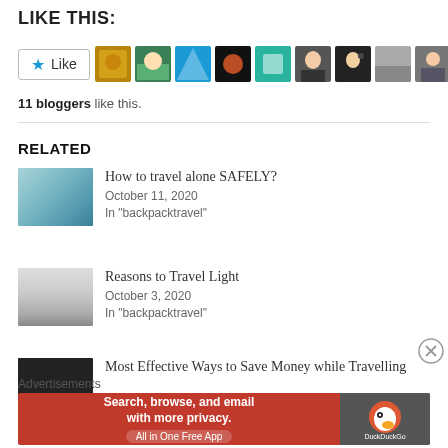LIKE THIS:
[Figure (other): Like button with star icon and 11 blogger avatars]
11 bloggers like this.
RELATED
How to travel alone SAFELY?
October 11, 2020
In "backpacktravel"
Reasons to Travel Light
October 3, 2020
In "backpacktravel"
Most Effective Ways to Save Money while Travelling
Advertisements
[Figure (infographic): DuckDuckGo advertisement: Search, browse, and email with more privacy. All in One Free App]